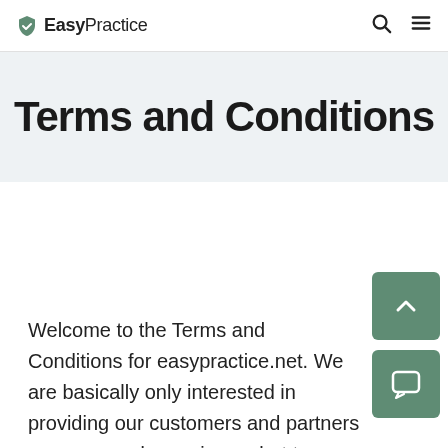EasyPractice
Terms and Conditions
Welcome to the Terms and Conditions for easypractice.net. We are basically only interested in providing our customers and partners a super good experience, but to ensure legal aspects, we have summarized some trading terms and conditions.